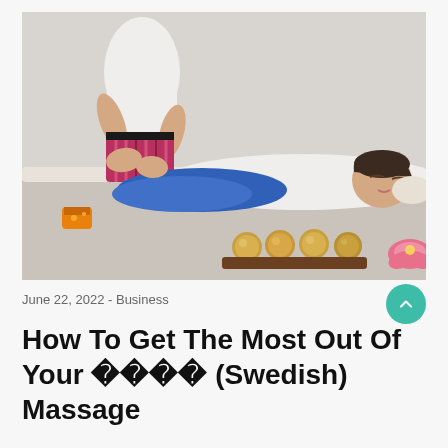[Figure (photo): A woman lying on a massage table receiving a Thai massage from a therapist in a white top and colorful patterned shorts. Golden massage balls and a pink lotus flower are visible in the foreground.]
June 22, 2022 - Business
How To Get The Most Out Of Your 매뉴알 (Swedish) Massage